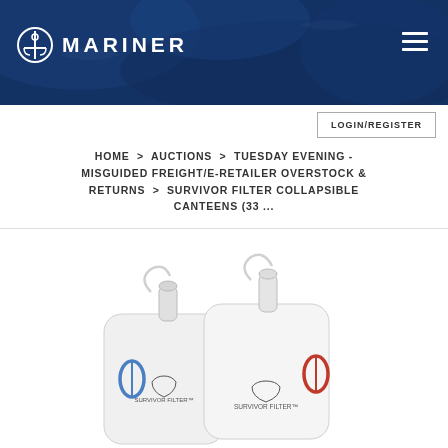MARINER
LOGIN/REGISTER
HOME > AUCTIONS > TUESDAY EVENING - MISGUIDED FREIGHT/E-RETAILER OVERSTOCK & RETURNS > SURVIVOR FILTER COLLAPSIBLE CANTEENS (33 ...
[Figure (photo): Product photo showing Survivor Filter collapsible canteens — white soft-sided pouches with spouts and carabiner clips, one with a blue clip and one with a red/orange clip, both branded with Survivor Filter logos.]